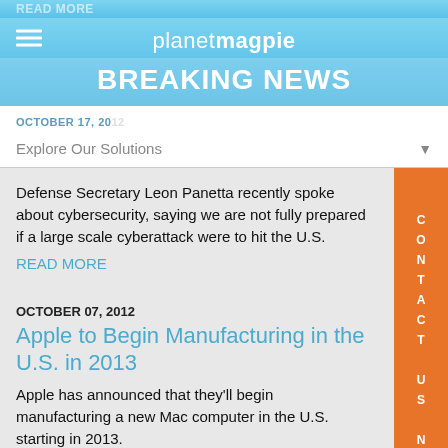READ MORE
planetmagpie
BREAKING NEWS
OCTOBER 17, 20…
Explore Our Solutions
Defense Secretary Leon Panetta recently spoke about cybersecurity, saying we are not fully prepared if a large scale cyberattack were to hit the U.S.
READ MORE
OCTOBER 07, 2012
Apple to Begin Manufacturing in the U.S. in 2013
Apple has announced that they'll begin manufacturing a new Mac computer in the U.S. starting in 2013.
READ MORE
CONTACT US NOW